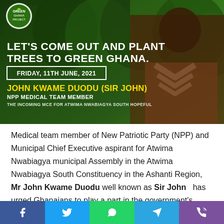[Figure (photo): Promotional banner for Green Ghana Project featuring John Kwame Duodu (Sir John), NPP Medical Team Member. Green forested background with logo. Text: LET'S COME OUT AND PLANT TREES TO GREEN GHANA. FRIDAY, 11TH JUNE, 2021. JOHN KWAME DUODU (SIR JOHN), NPP MEDICAL TEAM MEMBER, THE INCOMING MCE FOR ATWIMA NWABIAGYA SOUTH HOPEFUL]
Medical team member of New Patriotic Party (NPP) and Municipal Chief Executive aspirant for Atwima Nwabiagya municipal Assembly in the Atwima Nwabiagya South Constituency in the Ashanti Region, Mr John Kwame Duodu well known as Sir John   has urged Ghanaians to play a part in the government's "Green Ghana" project.
[Figure (infographic): Social media sharing bar with Facebook, Twitter, WhatsApp, Telegram, and Viber buttons]